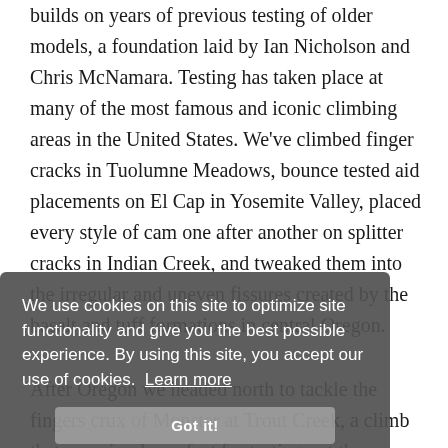builds on years of previous testing of older models, a foundation laid by Ian Nicholson and Chris McNamara. Testing has taken place at many of the most famous and iconic climbing areas in the United States. We've climbed finger cracks in Tuolumne Meadows, bounce tested aid placements on El Cap in Yosemite Valley, placed every style of cam one after another on splitter cracks in Indian Creek, and tweaked them into the irregular and uneven fissures created by the basalt and tuff formations in central Oregon.
[Figure (screenshot): Cookie consent overlay banner with gray background reading: 'We use cookies on this site to optimize site functionality and give you the best possible experience. By using this site, you accept our use of cookies. Learn more' with a 'Got it!' button]
After Oregon we headed north to tackle the finger crux of Monster at Trout Creek, a climb that was simply perfect for testing out the new Dragonfly micro cams.
Most of the testing took place "in the field," by using cams on trad climbs. Falls were taken. There may have been some curses thrown in for good measure. But beyond simply